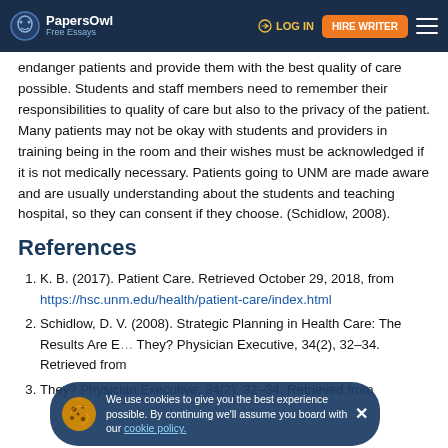PapersOwl Free Essays | LOG IN | HIRE WRITER
endanger patients and provide them with the best quality of care possible. Students and staff members need to remember their responsibilities to quality of care but also to the privacy of the patient. Many patients may not be okay with students and providers in training being in the room and their wishes must be acknowledged if it is not medically necessary. Patients going to UNM are made aware and are usually understanding about the students and teaching hospital, so they can consent if they choose. (Schidlow, 2008).
References
K. B. (2017). Patient Care. Retrieved October 29, 2018, from https://hsc.unm.edu/health/patient-care/index.html
Schidlow, D. V. (2008). Strategic Planning in Health Care: The Results Are E... They? Physician Executive, 34(2), 32–34. Retrieved from
They? Physician Executive, 34(2), 32–34. Retrieved from